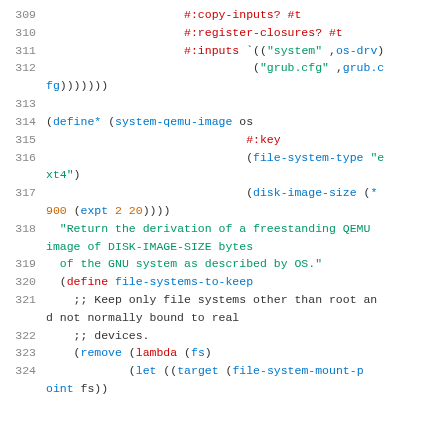Code listing lines 309-324 showing Scheme/Guile source code for system QEMU image definition
309   #:copy-inputs? #t
310   #:register-closures? #t
311   #:inputs `(("system" ,os-drv)
312             ("grub.cfg" ,grub.cfg)))))))
313
314 (define* (system-qemu-image os
315                              #:key
316                              (file-system-type "ext4")
317                              (disk-image-size (* 900 (expt 2 20))))
318   "Return the derivation of a freestanding QEMU image of DISK-IMAGE-SIZE bytes
319   of the GNU system as described by OS."
320   (define file-systems-to-keep
321     ;; Keep only file systems other than root and not normally bound to real
322     ;; devices.
323     (remove (lambda (fs)
324             (let ((target (file-system-mount-point fs))